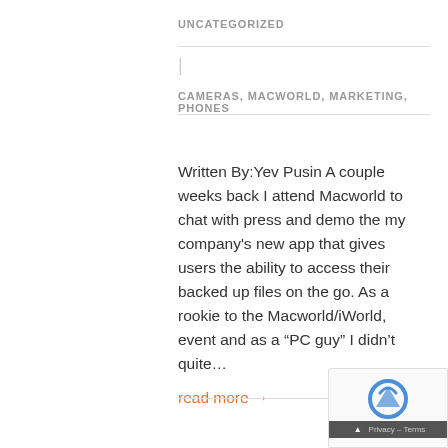UNCATEGORIZED
|
CAMERAS, MACWORLD, MARKETING, PHONES
Written By:Yev Pusin A couple weeks back I attend Macworld to chat with press and demo the my company's new app that gives users the ability to access their backed up files on the go. As a rookie to the Macworld/iWorld, event and as a “PC guy” I didn’t quite…
read more →